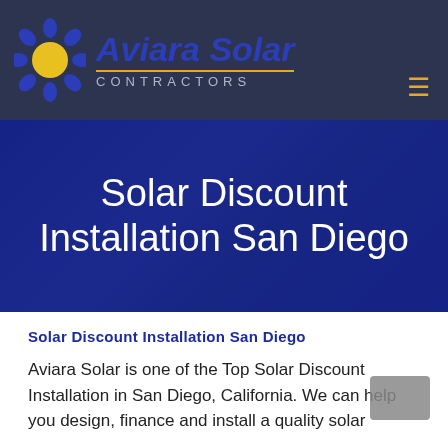[Figure (logo): Aviara Solar Contractors logo with sun/flower icon and italic blue text on dark navy background]
Solar Discount Installation San Diego
Solar Discount Installation San Diego
Aviara Solar is one of the Top Solar Discount Installation in San Diego, California. We can help you design, finance and install a quality solar